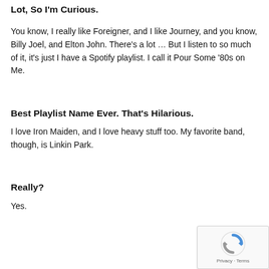Lot, So I'm Curious.
You know, I really like Foreigner, and I like Journey, and you know, Billy Joel, and Elton John. There's a lot … But I listen to so much of it, it's just I have a Spotify playlist. I call it Pour Some '80s on Me.
Best Playlist Name Ever. That's Hilarious.
I love Iron Maiden, and I love heavy stuff too. My favorite band, though, is Linkin Park.
Really?
Yes.